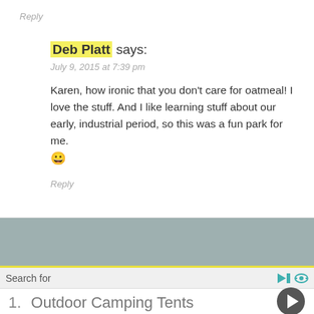Reply
Deb Platt says:
July 9, 2015 at 7:39 pm
Karen, how ironic that you don't care for oatmeal! I love the stuff. And I like learning stuff about our early, industrial period, so this was a fun park for me. 😀
Reply
Search for
1.  Outdoor Camping Tents